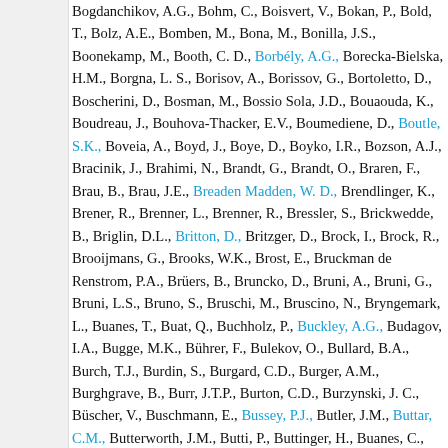Bogdanchikov, A.G., Bohm, C., Boisvert, V., Bokan, P., Bold, T., Bolz, A.E., Bomben, M., Bona, M., Bonilla, J.S., Boonekamp, M., Booth, C. D., Borbély, A.G., Borecka-Bielska, H.M., Borgna, L. S., Borisov, A., Borissov, G., Bortoletto, D., Boscherini, D., Bosman, M., Bossio Sola, J.D., Bouaouda, K., Boudreau, J., Bouhova-Thacker, E.V., Boumediene, D., Boutle, S.K., Boveia, A., Boyd, J., Boye, D., Boyko, I.R., Bozson, A.J., Bracinik, J., Brahimi, N., Brandt, G., Brandt, O., Braren, F., Brau, B., Brau, J.E., Breaden Madden, W. D., Brendlinger, K., Brener, R., Brenner, L., Brenner, R., Bressler, S., Brickwedde, B., Briglin, D.L., Britton, D., Britzger, D., Brock, I., Brock, R., Brooijmans, G., Brooks, W.K., Brost, E., Bruckman de Renstrom, P.A., Brüers, B., Bruncko, D., Bruni, A., Bruni, G., Bruni, L.S., Bruno, S., Bruschi, M., Bruscino, N., Bryngemark, L., Buanes, T., Buat, Q., Buchholz, P., Buckley, A.G., Budagov, I.A., Bugge, M.K., Bührer, F., Bulekov, O., Bullard, B.A., Burch, T.J., Burdin, S., Burgard, C.D., Burger, A.M., Burghgrave, B., Burr, J.T.P., Burton, C.D., Burzynski, J. C., Büscher, V., Buschmann, E., Bussey, P.J., Butler, J.M., Buttar, C.M., Butterworth, J.M., Butti, P., Buttinger, H., ...